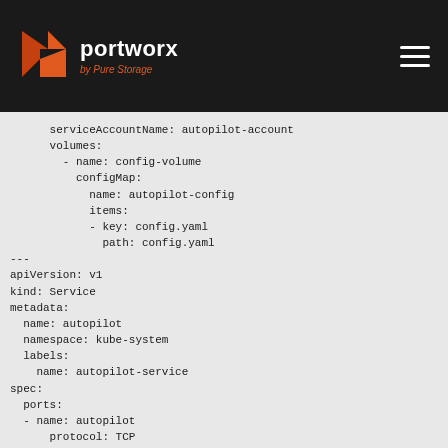Portworx by Pure Storage
serviceAccountName: autopilot-account
      volumes:
        - name: config-volume
          configMap:
            name: autopilot-config
            items:
            - key: config.yaml
              path: config.yaml
---
apiVersion: v1
kind: Service
metadata:
  name: autopilot
  namespace: kube-system
  labels:
    name: autopilot-service
spec:
  ports:
  - name: autopilot
      protocol: TCP
      port: 9628